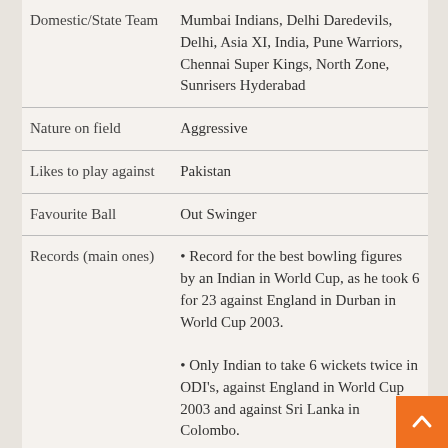|  |  |
| --- | --- |
| Domestic/State Team | Mumbai Indians, Delhi Daredevils, Delhi, Asia XI, India, Pune Warriors, Chennai Super Kings, North Zone, Sunrisers Hyderabad |
| Nature on field | Aggressive |
| Likes to play against | Pakistan |
| Favourite Ball | Out Swinger |
| Records (main ones) | • Record for the best bowling figures by an Indian in World Cup, as he took 6 for 23 against England in Durban in World Cup 2003.
• Only Indian to take 6 wickets twice in ODI's, against England in World Cup 2003 and against Sri Lanka in Colombo. |